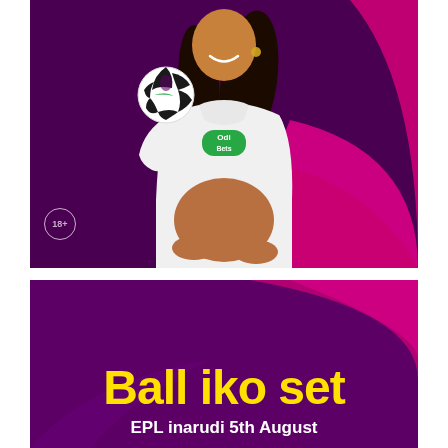[Figure (photo): A pregnant woman in a white hoodie with 'Odi Bets' green logo, holding a Premier League football, smiling, against a dark purple background with a pink swoosh. An 18+ badge is in the bottom left.]
Ball iko set
EPL inarudi 5th August